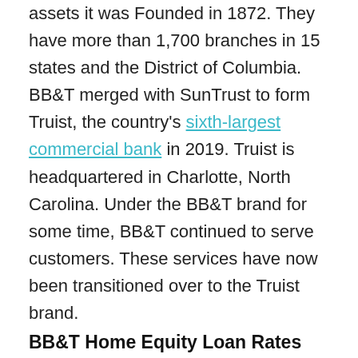assets it was Founded in 1872. They have more than 1,700 branches in 15 states and the District of Columbia. BB&T merged with SunTrust to form Truist, the country's sixth-largest commercial bank in 2019. Truist is headquartered in Charlotte, North Carolina. Under the BB&T brand for some time, BB&T continued to serve customers. These services have now been transitioned over to the Truist brand.
BB&T Home Equity Loan Rates